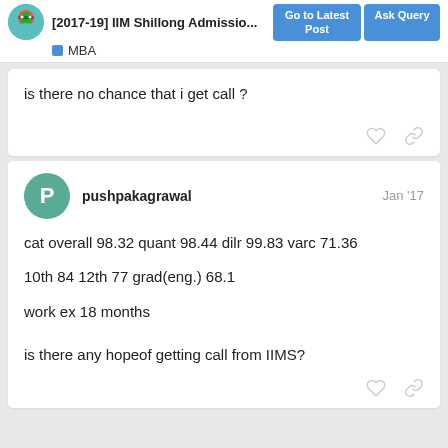[2017-19] IIM Shillong Admissio... | Go to Latest Post | Ask Query | MBA
is there no chance that i get call ?
pushpakagrawal Jan '17
cat overall 98.32 quant 98.44 dilr 99.83 varc 71.36
10th 84 12th 77 grad(eng.) 68.1
work ex 18 months
is there any hopeof getting call from IIMS?